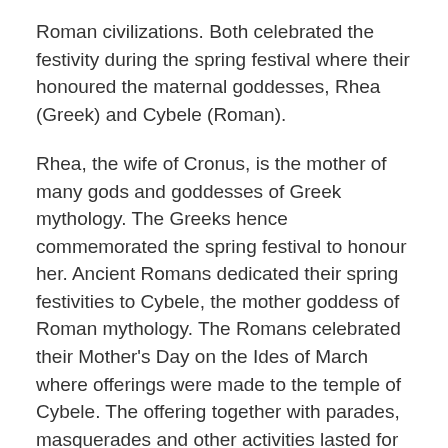Roman civilizations. Both celebrated the festivity during the spring festival where their honoured the maternal goddesses, Rhea (Greek) and Cybele (Roman).
Rhea, the wife of Cronus, is the mother of many gods and goddesses of Greek mythology. The Greeks hence commemorated the spring festival to honour her. Ancient Romans dedicated their spring festivities to Cybele, the mother goddess of Roman mythology. The Romans celebrated their Mother's Day on the Ides of March where offerings were made to the temple of Cybele. The offering together with parades, masquerades and other activities lasted for three days.
These ancient celebrations were marked as